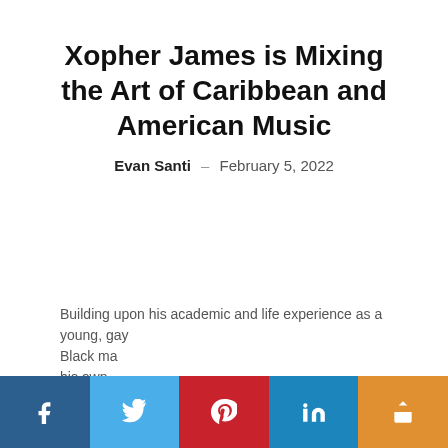Xopher James is Mixing the Art of Caribbean and American Music
Evan Santi – February 5, 2022
Building upon his academic and life experience as a young, gay Black ma... his own...